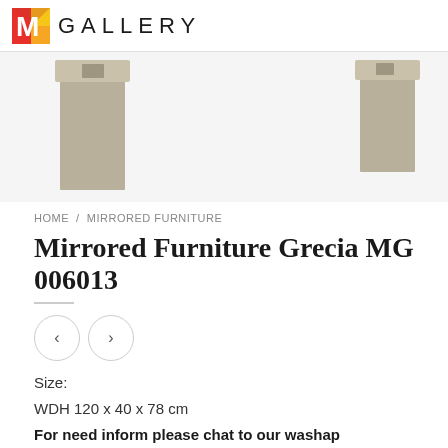M GALLERY
[Figure (photo): Two mirrored furniture pieces shown from above on a light grey background — a larger piece on the left and a smaller piece on the right, both with a tan/khaki finish and square handles on top.]
HOME / MIRRORED FURNITURE
Mirrored Furniture Grecia MG 006013
Size:
WDH 120 x 40 x 78 cm
For need inform please chat to our washap